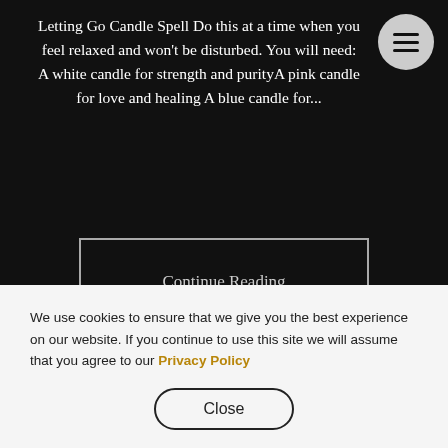Letting Go Candle Spell Do this at a time when you feel relaxed and won't be disturbed. You will need: A white candle for strength and purityA pink candle for love and healing A blue candle for...
[Figure (screenshot): Hamburger menu button — circular gray button with three horizontal lines icon]
Continue Reading
We use cookies to ensure that we give you the best experience on our website. If you continue to use this site we will assume that you agree to our Privacy Policy
Close